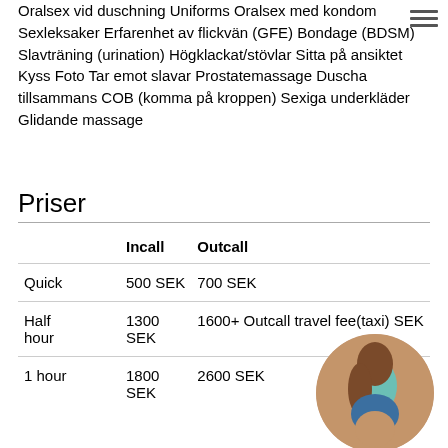Oralsex vid duschning Uniforms Oralsex med kondom Sexleksaker Erfarenhet av flickvän (GFE) Bondage (BDSM) Slavträning (urination) Högklackat/stövlar Sitta på ansiktet Kyss Foto Tar emot slavar Prostatemassage Duscha tillsammans COB (komma på kroppen) Sexiga underkläder Glidande massage
Priser
|  | Incall | Outcall |
| --- | --- | --- |
| Quick | 500 SEK | 700 SEK |
| Half hour | 1300 SEK | 1600+ Outcall travel fee(taxi) SEK |
| 1 hour | 1800 SEK | 2600 SEK |
[Figure (photo): Circular cropped photo of a woman in a teal top and denim shorts, viewed from behind/side, overlapping the bottom-right corner of the pricing table.]